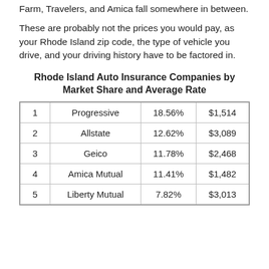Farm, Travelers, and Amica fall somewhere in between.
These are probably not the prices you would pay, as your Rhode Island zip code, the type of vehicle you drive, and your driving history have to be factored in.
Rhode Island Auto Insurance Companies by Market Share and Average Rate
|  |  |  |  |
| --- | --- | --- | --- |
| 1 | Progressive | 18.56% | $1,514 |
| 2 | Allstate | 12.62% | $3,089 |
| 3 | Geico | 11.78% | $2,468 |
| 4 | Amica Mutual | 11.41% | $1,482 |
| 5 | Liberty Mutual | 7.82% | $3,013 |